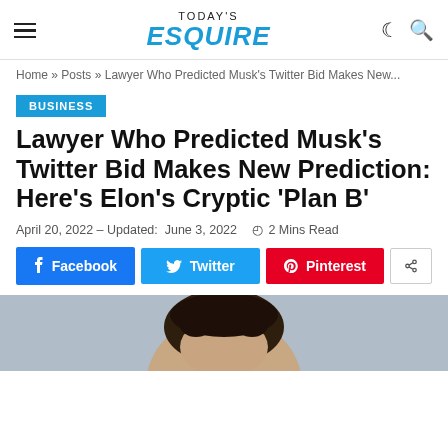TODAY'S ESQUIRE
Home » Posts » Lawyer Who Predicted Musk's Twitter Bid Makes New...
BUSINESS
Lawyer Who Predicted Musk's Twitter Bid Makes New Prediction: Here's Elon's Cryptic 'Plan B'
April 20, 2022 – Updated: June 3, 2022   2 Mins Read
[Figure (illustration): Social share buttons: Facebook, Twitter, Pinterest, and a share icon button]
[Figure (photo): Bottom portion of page showing the top of a person's head with dark hair, appearing to be a photo of Elon Musk]